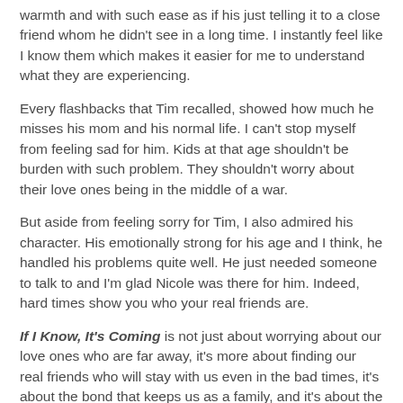warmth and with such ease as if his just telling it to a close friend whom he didn't see in a long time. I instantly feel like I know them which makes it easier for me to understand what they are experiencing.
Every flashbacks that Tim recalled, showed how much he misses his mom and his normal life. I can't stop myself from feeling sad for him. Kids at that age shouldn't be burden with such problem. They shouldn't worry about their love ones being in the middle of a war.
But aside from feeling sorry for Tim, I also admired his character. His emotionally strong for his age and I think, he handled his problems quite well. He just needed someone to talk to and I'm glad Nicole was there for him. Indeed, hard times show you who your real friends are.
If I Know, It's Coming is not just about worrying about our love ones who are far away, it's more about finding our real friends who will stay with us even in the bad times, it's about the bond that keeps us as a family, and it's about the happy memories we shared with them.